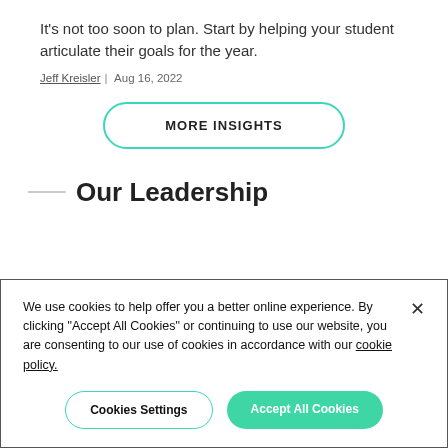It's not too soon to plan. Start by helping your student articulate their goals for the year.
Jeff Kreisler | Aug 16, 2022
MORE INSIGHTS
Our Leadership
We use cookies to help offer you a better online experience. By clicking "Accept All Cookies" or continuing to use our website, you are consenting to our use of cookies in accordance with our cookie policy.
Cookies Settings
Accept All Cookies